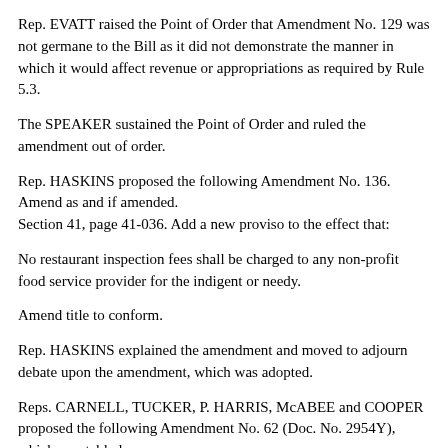Rep. EVATT raised the Point of Order that Amendment No. 129 was not germane to the Bill as it did not demonstrate the manner in which it would affect revenue or appropriations as required by Rule 5.3.
The SPEAKER sustained the Point of Order and ruled the amendment out of order.
Rep. HASKINS proposed the following Amendment No. 136. Amend as and if amended.
Section 41, page 41-036. Add a new proviso to the effect that:
No restaurant inspection fees shall be charged to any non-profit food service provider for the indigent or needy.
Amend title to conform.
Rep. HASKINS explained the amendment and moved to adjourn debate upon the amendment, which was adopted.
Reps. CARNELL, TUCKER, P. HARRIS, McABEE and COOPER proposed the following Amendment No. 62 (Doc. No. 2954Y), which was tabled.
Amend the bill, as and if amended, Part I, Section 41, by adding at